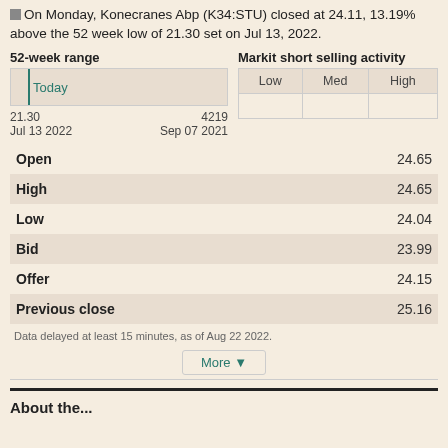On Monday, Konecranes Abp (K34:STU) closed at 24.11, 13.19% above the 52 week low of 21.30 set on Jul 13, 2022.
52-week range
[Figure (other): 52-week range bar showing today marker near left side]
Markit short selling activity
| Low | Med | High |
| --- | --- | --- |
21.30    Jul 13 2022    4219    Sep 07 2021
|  |  |
| --- | --- |
| Open | 24.65 |
| High | 24.65 |
| Low | 24.04 |
| Bid | 23.99 |
| Offer | 24.15 |
| Previous close | 25.16 |
Data delayed at least 15 minutes, as of Aug 22 2022.
More ▼
About the...